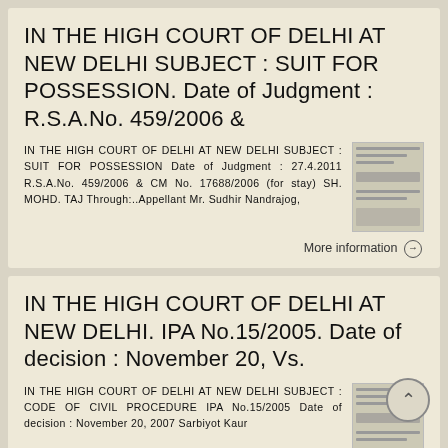IN THE HIGH COURT OF DELHI AT NEW DELHI SUBJECT : SUIT FOR POSSESSION. Date of Judgment : R.S.A.No. 459/2006 &
IN THE HIGH COURT OF DELHI AT NEW DELHI SUBJECT : SUIT FOR POSSESSION Date of Judgment : 27.4.2011 R.S.A.No. 459/2006 & CM No. 17688/2006 (for stay) SH. MOHD. TAJ Through:..Appellant Mr. Sudhir Nandrajog,
More information →
IN THE HIGH COURT OF DELHI AT NEW DELHI. IPA No.15/2005. Date of decision : November 20, Vs.
IN THE HIGH COURT OF DELHI AT NEW DELHI SUBJECT : CODE OF CIVIL PROCEDURE IPA No.15/2005 Date of decision : November 20, 2007 Sarbiyot Kaur